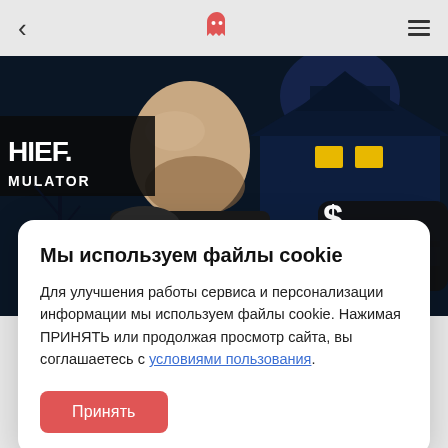< [ghost icon] ≡
[Figure (screenshot): Game banner for Thief Simulator showing a bald man character in front of a dark blue house at night, with text 'THIEF SIMULATOR' on the left and '$1.6' badge on the right]
Мы используем файлы cookie
Для улучшения работы сервиса и персонализации информации мы используем файлы cookie. Нажимая ПРИНЯТЬ или продолжая просмотр сайта, вы соглашаетесь с условиями пользования.
Принять